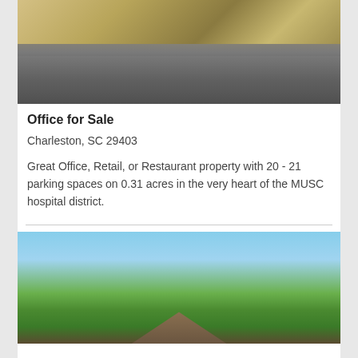[Figure (photo): Aerial/ground view of parking lot with rock landscaping, asphalt driveway, and some vegetation in the background]
Office for Sale
Charleston, SC 29403
Great Office, Retail, or Restaurant property with 20 - 21 parking spaces on 0.31 acres in the very heart of the MUSC hospital district.
[Figure (photo): Exterior view of a property with a peaked roof structure, surrounded by green trees under a blue sky]